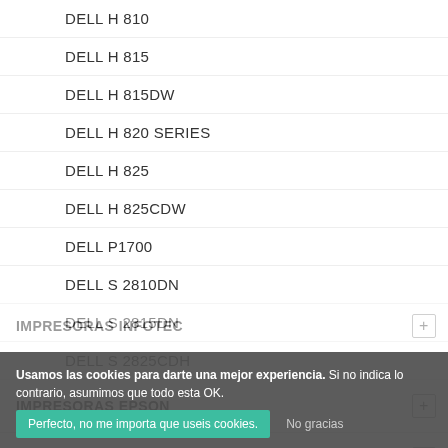DELL H 810
DELL H 815
DELL H 815DW
DELL H 820 SERIES
DELL H 825
DELL H 825CDW
DELL P1700
DELL S 2810DN
DELL S 2815DN
DELL S 2825CDH
IMPRESORAS EPSON
IMPRESORAS HP
IMPRESORAS INFOTEC
Usamos las cookies para darte una mejor experiencia. Si no indica lo contrario, asumimos que todo esta OK.
Perfecto, no me importa que useis cookies.
No gracias